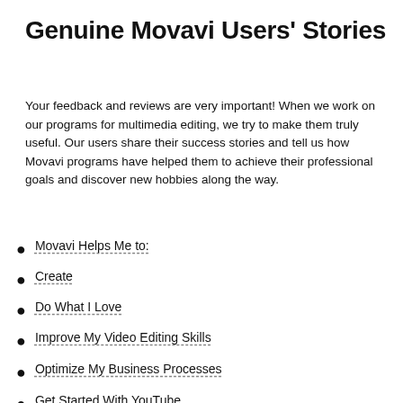Genuine Movavi Users' Stories
Your feedback and reviews are very important! When we work on our programs for multimedia editing, we try to make them truly useful. Our users share their success stories and tell us how Movavi programs have helped them to achieve their professional goals and discover new hobbies along the way.
Movavi Helps Me to:
Create
Do What I Love
Improve My Video Editing Skills
Optimize My Business Processes
Get Started With YouTube